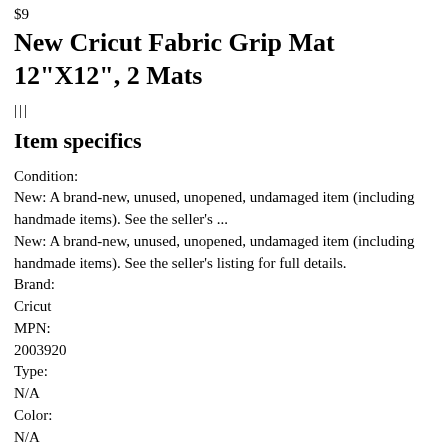$9
New Cricut Fabric Grip Mat 12"X12", 2 Mats
|||
Item specifics
Condition:
New: A brand-new, unused, unopened, undamaged item (including handmade items). See the seller's ...
New: A brand-new, unused, unopened, undamaged item (including handmade items). See the seller's listing for full details.
Brand:
Cricut
MPN:
2003920
Type:
N/A
Color:
N/A
Size:
N/A